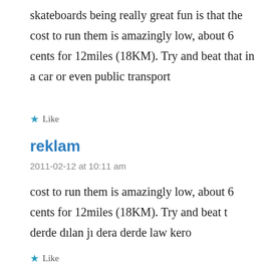skateboards being really great fun is that the cost to run them is amazingly low, about 6 cents for 12miles (18KM). Try and beat that in a car or even public transport
★ Like
reklam
2011-02-12 at 10:11 am
cost to run them is amazingly low, about 6 cents for 12miles (18KM). Try and beat t derde dılan jı dera derde law kero
★ Like